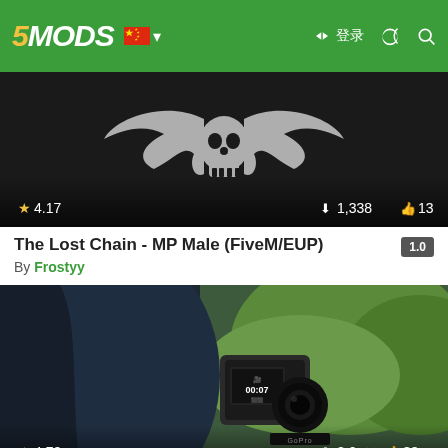5MODS navigation header with logo, Chinese flag, login, dark mode, and search icons
[Figure (screenshot): Thumbnail for 'The Lost Chain - MP Male (FiveM/EUP)' mod showing a dark background with a white skull/wings logo. Stats: rating 4.17, downloads 1,338, likes 13]
The Lost Chain - MP Male (FiveM/EUP)  1.0
By Frostyy
[Figure (screenshot): Thumbnail for 'GoPro Hero 7 Bodycam - EUP' mod showing a close-up of a GoPro Hero 7 camera mounted on a jacket, with green hillside background. Stats: rating 4.78, downloads 2,0XX, likes 38]
GoPro Hero 7 Bodycam - EUP  1.1
By Fros...